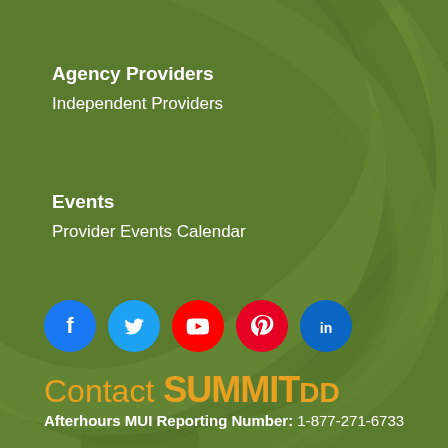Agency Providers
Independent Providers
Events
Provider Events Calendar
[Figure (infographic): Row of five social media icons: Facebook (blue), Twitter (blue), YouTube (red), Pinterest (red), LinkedIn (blue)]
Contact SummitDD
Afterhours MUI Reporting Number: 1-877-271-6733